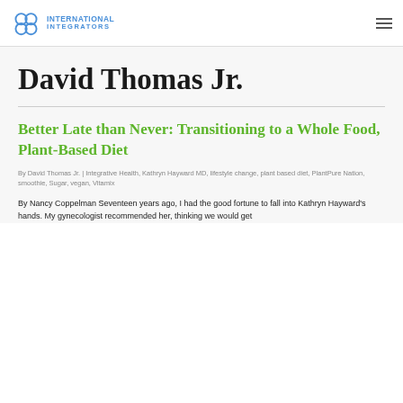International Integrators
David Thomas Jr.
Better Late than Never: Transitioning to a Whole Food, Plant-Based Diet
By David Thomas Jr. | Integrative Health, Kathryn Hayward MD, lifestyle change, plant based diet, PlantPure Nation, smoothie, Sugar, vegan, Vitamix
By Nancy Coppelman Seventeen years ago, I had the good fortune to fall into Kathryn Hayward's hands. My gynecologist recommended her, thinking we would get along in today's world while all the...